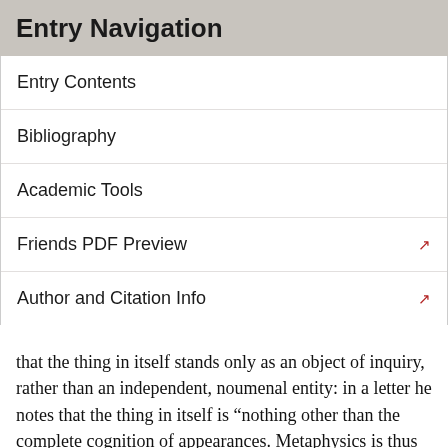Entry Navigation
Entry Contents
Bibliography
Academic Tools
Friends PDF Preview
Author and Citation Info
that the thing in itself stands only as an object of inquiry, rather than an independent, noumenal entity: in a letter he notes that the thing in itself is “nothing other than the complete cognition of appearances. Metaphysics is thus not the study of something apart from experience, but rather merely of the limits (Ideas) of experience itself.” (in Ehrensperger (2004), 250–1) As such, while Maimon agrees with Kant that since we are finite beings the thing in itself is in fact beyond the realm of possible experience, this does not imply that the thing in itself cannot in principle be an object of cognition.